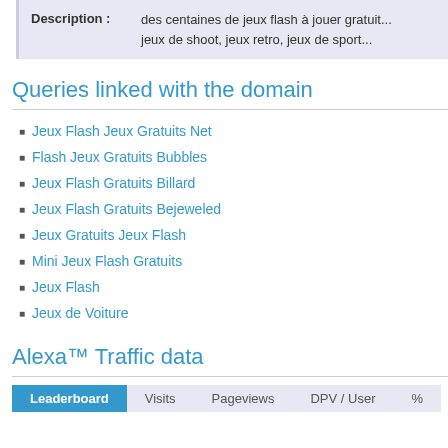| Description : |  |
| --- | --- |
| Description : | des centaines de jeux flash à jouer gratuit... jeux de shoot, jeux retro, jeux de sport... |
Queries linked with the domain
Jeux Flash Jeux Gratuits Net
Flash Jeux Gratuits Bubbles
Jeux Flash Gratuits Billard
Jeux Flash Gratuits Bejeweled
Jeux Gratuits Jeux Flash
Mini Jeux Flash Gratuits
Jeux Flash
Jeux de Voiture
Alexa™ Traffic data
| Leaderboard | Visits | Pageviews | DPV / User | % |
| --- | --- | --- | --- | --- |